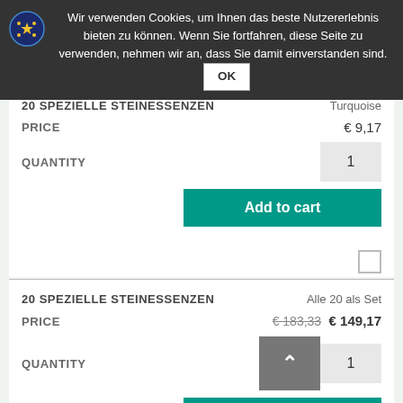Wir verwenden Cookies, um Ihnen das beste Nutzererlebnis bieten zu können. Wenn Sie fortfahren, diese Seite zu verwenden, nehmen wir an, dass Sie damit einverstanden sind. OK
20 SPEZIELLE STEINESSENZEN  Turquoise
PRICE  € 9,17
QUANTITY  1
Add to cart
20 SPEZIELLE STEINESSENZEN  Alle 20 als Set
PRICE  €183,33  € 149,17
QUANTITY  1
Add to cart